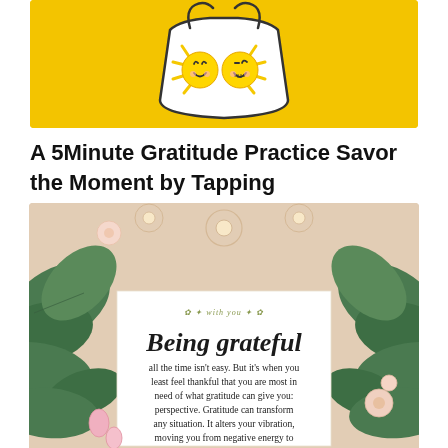[Figure (illustration): Yellow background with cartoon sun faces and a bag/container outline with two smiling sun characters inside]
A 5Minute Gratitude Practice Savor the Moment by Tapping
[Figure (illustration): Floral botanical background with large green leaves and flowers in pink and white tones, with a white card overlay featuring the text 'Being grateful all the time isn't easy. But it's when you least feel thankful that you are most in need of what gratitude can give you: perspective. Gratitude can transform any situation. It alters your vibration, moving you from negative energy to']